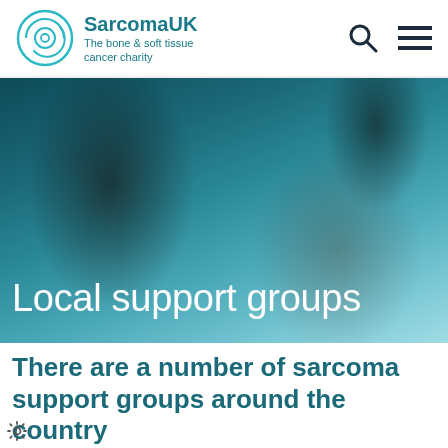Sarcoma UK – The bone & soft tissue cancer charity
[Figure (photo): A woman touching her shoulder against a teal/dark blue overlaid background, with the text 'Local support groups' overlaid in white.]
Local support groups
There are a number of sarcoma support groups around the country